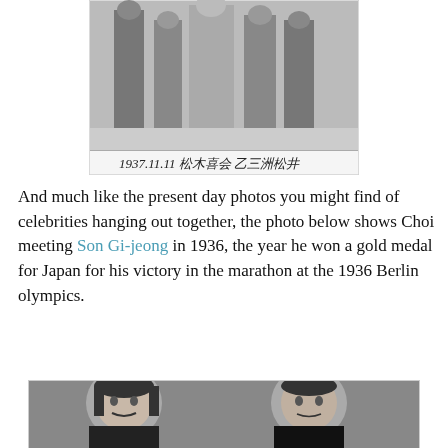[Figure (photo): Black and white historical photograph of several people standing together, dated 1937.11.11 with Japanese/Chinese handwritten inscription below]
And much like the present day photos you might find of celebrities hanging out together, the photo below shows Choi meeting Son Gi-jeong in 1936, the year he won a gold medal for Japan for his victory in the marathon at the 1936 Berlin olympics.
[Figure (photo): Black and white portrait photograph of a woman and man sitting together, circa 1936]